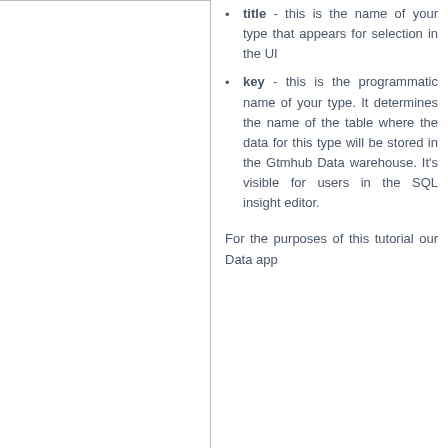title - this is the name of your type that appears for selection in the UI
key - this is the programmatic name of your type. It determines the name of the table where the data for this type will be stored in the Gtmhub Data warehouse. It's visible for users in the SQL insight editor.
For the purposes of this tutorial our Data app